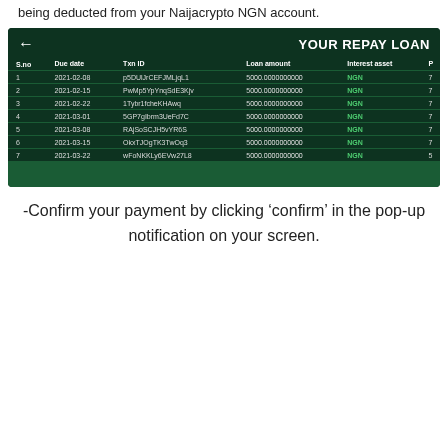being deducted from your Naijacrypto NGN account.
[Figure (screenshot): Mobile app screenshot showing 'YOUR REPAY LOAN' screen with a table listing 7 loan repayment entries. Columns: S.no, Due date, Txn ID, Loan amount, Interest asset. Rows show dates from 2021-02-08 to 2021-03-22, loan amounts of 5000.0000000000, and NGN as interest asset.]
-Confirm your payment by clicking 'confirm' in the pop-up notification on your screen.